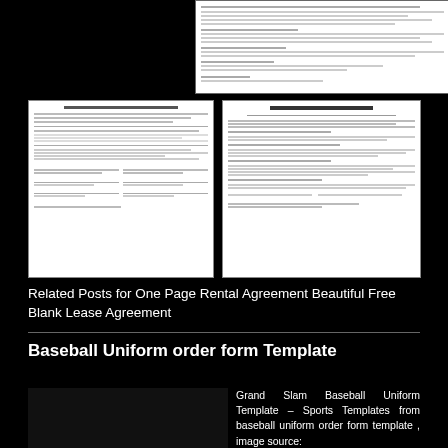[Figure (screenshot): Thumbnail preview of a document page (top portion), showing lines of text on white background]
[Figure (screenshot): Thumbnail preview of a rental agreement form document]
[Figure (screenshot): Thumbnail preview of a RENTAL AGREEMENT document]
Related Posts for One Page Rental Agreement Beautiful Free Blank Lease Agreement
Baseball Uniform order form Template
Grand Slam Baseball Uniform Template – Sports Templates from baseball uniform order form template , image source: